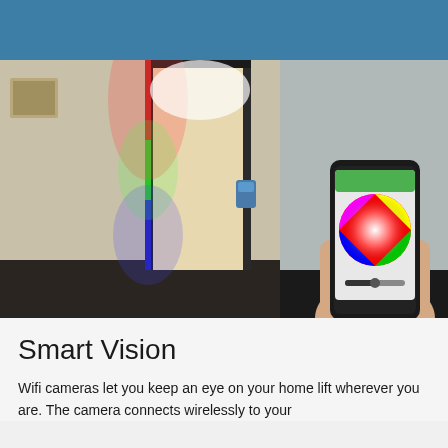[Figure (photo): A home lift with RGB LED lighting strips on the door frame showing red, green, and blue vertical light columns. On the right side, a hand holds a smartphone displaying a color wheel app used to control the lift lighting wirelessly.]
Smart Vision
Wifi cameras let you keep an eye on your home lift wherever you are. The camera connects wirelessly to your